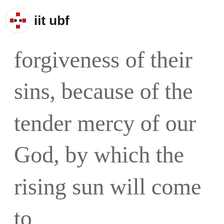iit ubf
forgiveness of their sins, because of the tender mercy of our God, by which the rising sun will come to